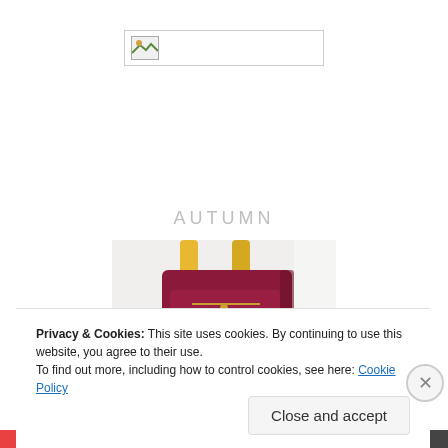[Figure (logo): Website logo image placeholder with broken image icon in a rectangular border]
AUTUMN
[Figure (photo): A dark red/maroon leather handbag with yellow/mustard straps hanging against a white background]
Privacy & Cookies: This site uses cookies. By continuing to use this website, you agree to their use.
To find out more, including how to control cookies, see here: Cookie Policy
Close and accept